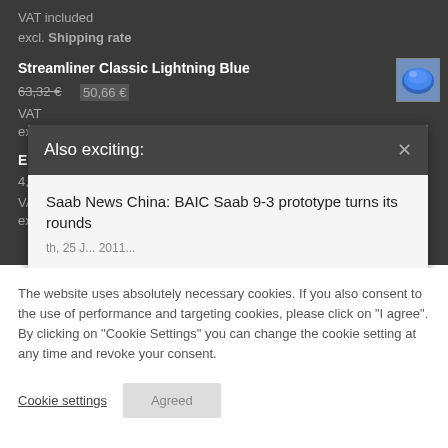VAT included
excl. Shipping rate
Streamliner Classic Lightning Blue
63,32 €  50,66 €
VAT included
excl.
En...
4,2...
VA...
ex...
Also exciting:
Saab News China: BAIC Saab 9-3 prototype turns its rounds
The website uses absolutely necessary cookies. If you also consent to the use of performance and targeting cookies, please click on "I agree". By clicking on "Cookie Settings" you can change the cookie setting at any time and revoke your consent.
Cookie settings
Agreed